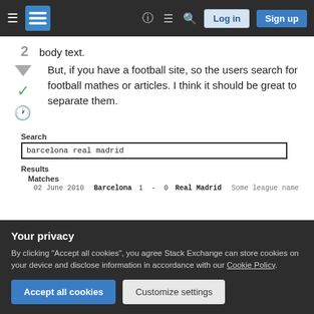[Figure (screenshot): Stack Exchange website navigation bar with hamburger menu, logo, help icon, chat icon, search icon, Log in and Sign up buttons]
body text.
But, if you have a football site, so the users search for football mathes or articles. I think it should be great to separate them.
[Figure (screenshot): A search UI mockup showing a Search label, an input box with 'barcelona real madrid', Results section with Matches subsection, and a row: 02 June 2010 Barcelona 1 - 0 Real Madrid Some league name]
Your privacy
By clicking "Accept all cookies", you agree Stack Exchange can store cookies on your device and disclose information in accordance with our Cookie Policy.
Accept all cookies
Customize settings